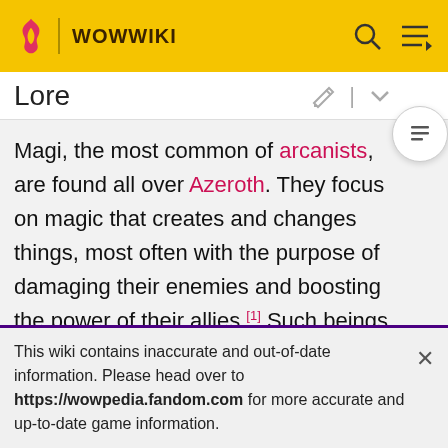WOWWIKI
Lore
Magi, the most common of arcanists, are found all over Azeroth. They focus on magic that creates and changes things, most often with the purpose of damaging their enemies and boosting the power of their allies.[1] Such beings can obtain a familiar, which is a normal animal that gains new powers and becomes a magical beast when summoned to service by a mage,[1] while others choose to become a focused mage.[2] Magi also understand the workings of arcane energy so well they can counter most
This wiki contains inaccurate and out-of-date information. Please head over to https://wowpedia.fandom.com for more accurate and up-to-date game information.